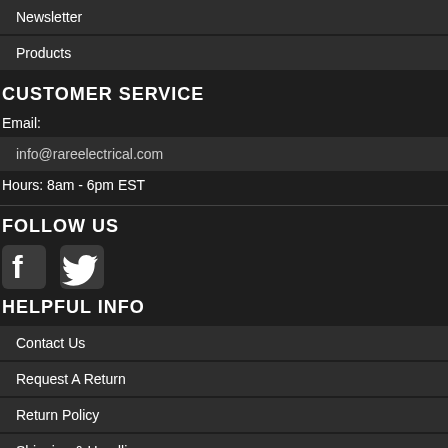Newsletter
Products
CUSTOMER SERVICE
Email:
info@rareelectrical.com
Hours: 8am - 6pm EST
FOLLOW US
[Figure (illustration): Facebook and Twitter social media icons]
HELPFUL INFO
Contact Us
Request A Return
Return Policy
Shipping & Handling
FAQ